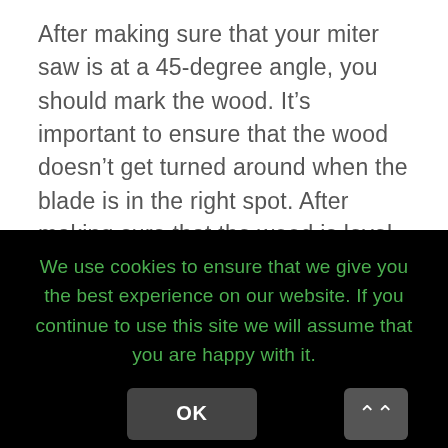After making sure that your miter saw is at a 45-degree angle, you should mark the wood. It’s important to ensure that the wood doesn’t get turned around when the blade is in the right spot. After making sure that the wood is level, you should secure it with a quick grip clamp. You’ll need to hold it into position so that it won’t turn around.

Before you begin a miter saw, it’s important to set the
We use cookies to ensure that we give you the best experience on our website. If you continue to use this site we will assume that you are happy with it.